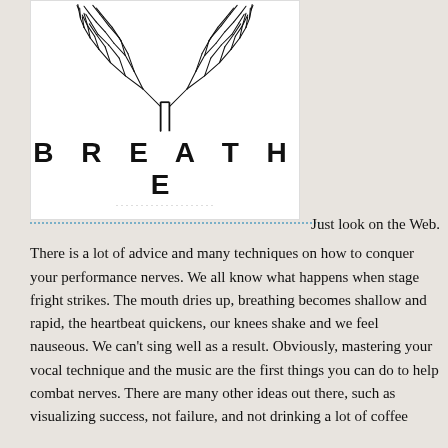[Figure (illustration): A poster-style illustration of a pair of lungs rendered as bare tree branches/roots in black ink on white background, with the word BREATHE in large bold spaced letters below the image, and small subtitle text beneath.]
Just look on the Web. There is a lot of advice and many techniques on how to conquer your performance nerves. We all know what happens when stage fright strikes. The mouth dries up, breathing becomes shallow and rapid, the heartbeat quickens, our knees shake and we feel nauseous. We can't sing well as a result. Obviously, mastering your vocal technique and the music are the first things you can do to help combat nerves. There are many other ideas out there, such as visualizing success, not failure, and not drinking a lot of coffee